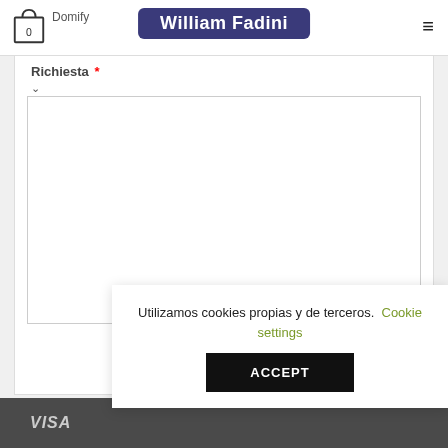William Fadini — Domify — Navigation
Richiesta *
[Figure (screenshot): A web form textarea field with a resize handle in the bottom-right corner]
Invia
Utilizziamo cookies propias y de terceros. Cookie settings
ACCEPT
VISA